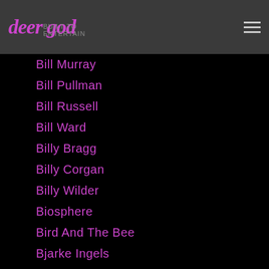deer god
Bill Murray
Bill Pullman
Bill Russell
Bill Ward
Billy Bragg
Billy Corgan
Billy Wilder
Biosphere
Bird And The Bee
Bjarke Ingels
Bjork
Björk
Black Belles
Black Breath
Black Dahlia Murder
Black Flag
Black Francis